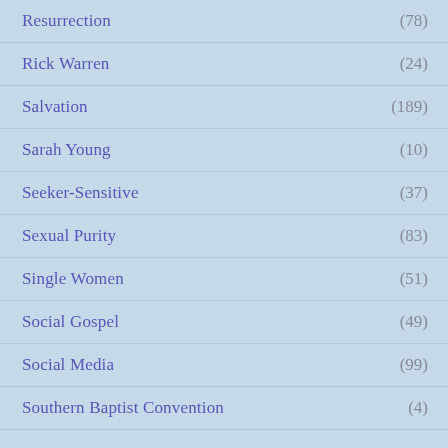Resurrection (78)
Rick Warren (24)
Salvation (189)
Sarah Young (10)
Seeker-Sensitive (37)
Sexual Purity (83)
Single Women (51)
Social Gospel (49)
Social Media (99)
Southern Baptist Convention (4)